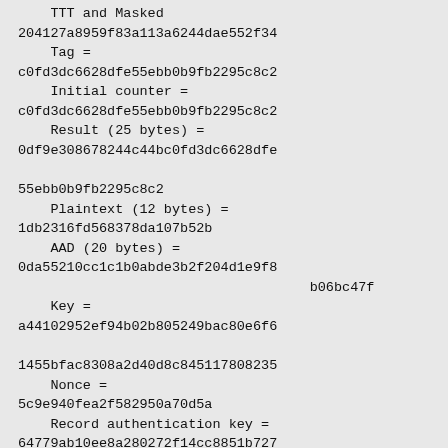TTT and Masked
204127a8959f83a113a6244dae552f34
    Tag =
c0fd3dc6628dfe55ebb0b9fb2295c8c2
    Initial counter =
c0fd3dc6628dfe55ebb0b9fb2295c8c2
    Result (25 bytes) =
0df9e308678244c44bc0fd3dc6628dfe

55ebb0b9fb2295c8c2
    Plaintext (12 bytes) =
1db2316fd568378da107b52b
    AAD (20 bytes) =
0da55210cc1c1b0abde3b2f204d1e9f8
                                    b06bc47f
    Key =
a44102952ef94b02b805249bac80e6f6

1455bfac8308a2d40d8c845117808235
    Nonce =
5c9e940fea2f582950a70d5a
    Record authentication key =
64779ab10ee8a280272f14cc8851b727